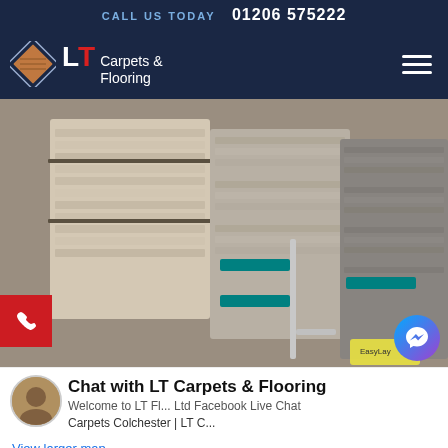CALL US TODAY  01206 575222
[Figure (logo): LT Carpets & Flooring logo with diamond wood-pattern icon, white and red text on dark navy background]
[Figure (photo): Stacks of carpet samples in grey and beige tones arranged on display racks in a flooring showroom]
Chat with LT Carpets & Flooring
Welcome to LT Fl... Ltd Facebook Live Chat
Carpets Colchester | LT C...
View larger map